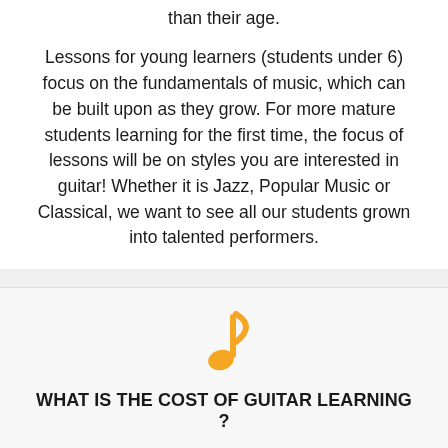than their age.
Lessons for young learners (students under 6) focus on the fundamentals of music, which can be built upon as they grow. For more mature students learning for the first time, the focus of lessons will be on styles you are interested in guitar! Whether it is Jazz, Popular Music or Classical, we want to see all our students grown into talented performers.
[Figure (illustration): Orange musical note icon]
WHAT IS THE COST OF GUITAR LEARNING ?
Our lessons start from $75 per hour. The exact prices